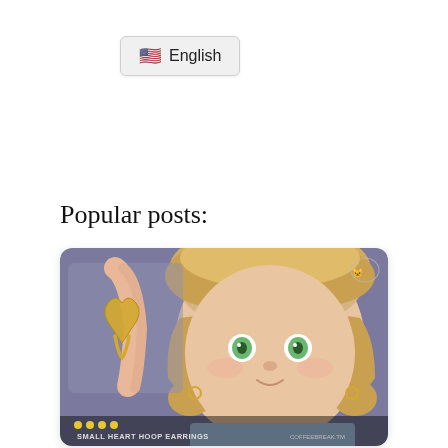[Figure (screenshot): English language selector button with US flag emoji]
Popular posts:
[Figure (photo): Screenshot of a Sims 4 custom content preview showing small heart hoop earrings on a toddler character with blonde hair and green eyes, against a purple background. Text at bottom reads 'SMALL HEART HOOP EARRINGS'.]